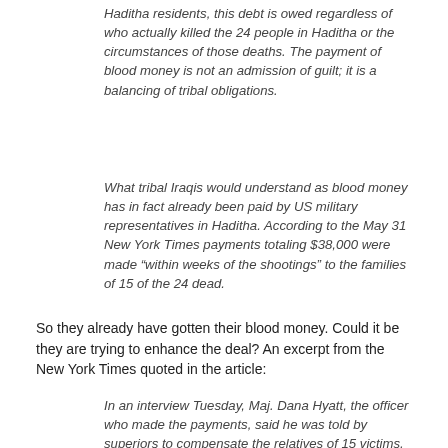Haditha residents, this debt is owed regardless of who actually killed the 24 people in Haditha or the circumstances of those deaths. The payment of blood money is not an admission of guilt; it is a balancing of tribal obligations.
What tribal Iraqis would understand as blood money has in fact already been paid by US military representatives in Haditha. According to the May 31 New York Times payments totaling $38,000 were made “within weeks of the shootings” to the families of 15 of the 24 dead.
So they already have gotten their blood money. Could it be they are trying to enhance the deal? An excerpt from the New York Times quoted in the article:
In an interview Tuesday, Maj. Dana Hyatt, the officer who made the payments, said he was told by superiors to compensate the relatives of 15 victims, but was told that rest of those killed had been deemed to have committed hostile acts, leaving their families ineligible for compensation.